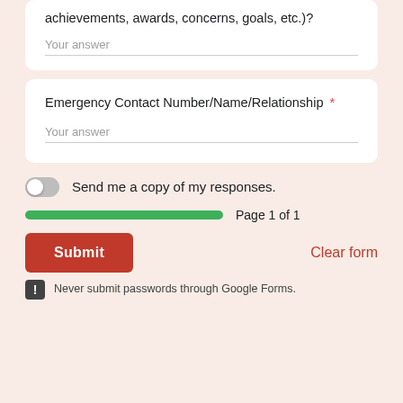achievements, awards, concerns, goals, etc.)?
Your answer
Emergency Contact Number/Name/Relationship *
Your answer
Send me a copy of my responses.
Page 1 of 1
Submit
Clear form
Never submit passwords through Google Forms.